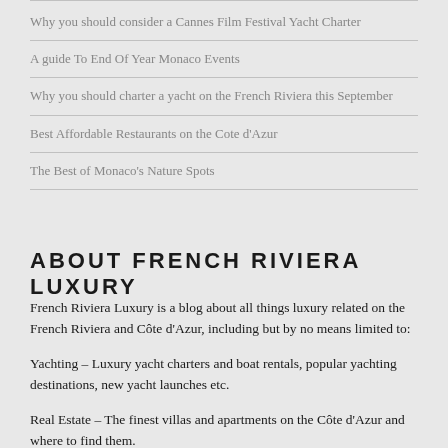Why you should consider a Cannes Film Festival Yacht Charter
A guide To End Of Year Monaco Events
Why you should charter a yacht on the French Riviera this September
Best Affordable Restaurants on the Cote d'Azur
The Best of Monaco's Nature Spots
ABOUT FRENCH RIVIERA LUXURY
French Riviera Luxury is a blog about all things luxury related on the French Riviera and Côte d'Azur, including but by no means limited to:
Yachting – Luxury yacht charters and boat rentals, popular yachting destinations, new yacht launches etc.
Real Estate – The finest villas and apartments on the Côte d'Azur and where to find them.